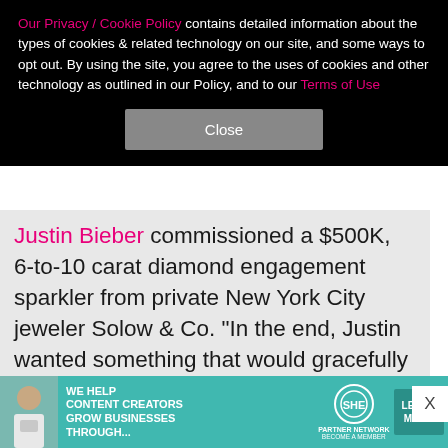Our Privacy / Cookie Policy contains detailed information about the types of cookies & related technology on our site, and some ways to opt out. By using the site, you agree to the uses of cookies and other technology as outlined in our Policy, and to our Terms of Use
Close
Justin Bieber commissioned a $500K, 6-to-10 carat diamond engagement sparkler from private New York City jeweler Solow & Co. "In the end, Justin wanted something that would gracefully accentuate Hailey's beautifully shaped hands. We settled on an oval stone that was just exceptional in its length and grace," founder Jack Solow told People magazine. Jack also shared that Justin gave the ring "a lot of thought" and was over the moon when he found the right one. "He
[Figure (screenshot): Advertisement banner for SHE Media Partner Network showing a woman with glasses, text 'WE HELP CONTENT CREATORS GROW BUSINESSES THROUGH...' with SHE logo and 'LEARN MORE' button]